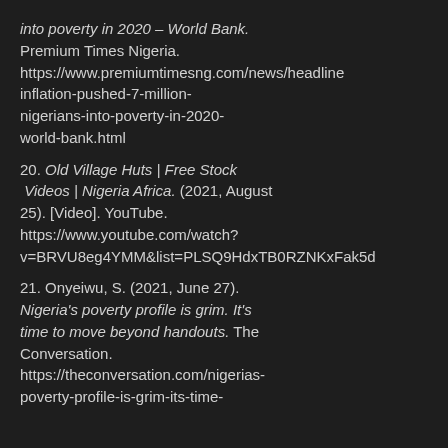into poverty in 2020 – World Bank. Premium Times Nigeria. https://www.premiumtimesng.com/news/headline inflation-pushed-7-million-nigerians-into-poverty-in-2020-world-bank.html
20. Old Village Huts | Free Stock Videos | Nigeria Africa. (2021, August 25). [Video]. YouTube. https://www.youtube.com/watch?v=BRVU8eg4YMM&list=PLSQ9HdxTB0RZNKxFak5d
21. Onyeiwu, S. (2021, June 27). Nigeria's poverty profile is grim. It's time to move beyond handouts. The Conversation. https://theconversation.com/nigerias-poverty-profile-is-grim-its-time-